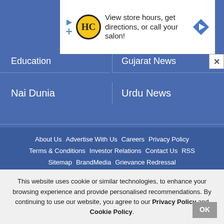[Figure (screenshot): Advertisement banner: HC logo, text 'View store hours, get directions, or call your salon!' with blue arrow icon]
Education
Gujarat News
Nai Dunia
Urdu News
About Us   Advertise With Us   Careers   Privacy Policy   Terms & Conditions   Investor Relations   Contact Us   RSS   Sitemap   BrandMedia   Grievance Redressal
Kindly mail us your feedback at feedback@mid-day.com
This website uses cookie or similar technologies, to enhance your browsing experience and provide personalised recommendations. By continuing to use our website, you agree to our Privacy Policy and Cookie Policy.